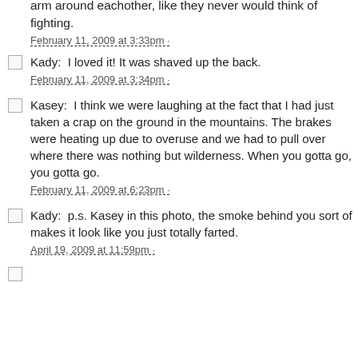arm around eachother, like they never would think of fighting.
February 11, 2009 at 3:33pm ·
Kady:  I loved it! It was shaved up the back.
February 11, 2009 at 3:34pm ·
Kasey:  I think we were laughing at the fact that I had just taken a crap on the ground in the mountains. The brakes were heating up due to overuse and we had to pull over where there was nothing but wilderness. When you gotta go, you gotta go.
February 11, 2009 at 6:23pm ·
Kady:  p.s. Kasey in this photo, the smoke behind you sort of makes it look like you just totally farted.
April 19, 2009 at 11:59pm ·